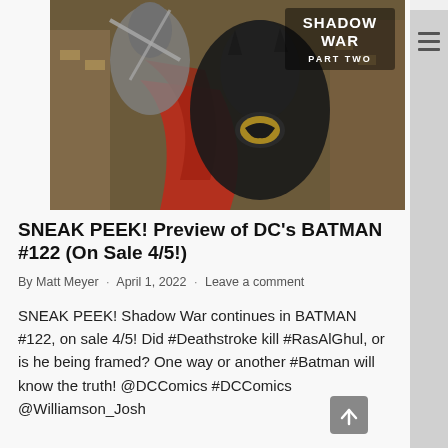[Figure (illustration): Comic book cover image for Batman #122, Shadow War Part Two. Shows Batman and another character (Deathstroke/Robin) in action pose against city background. 'Shadow War Part Two' text badge in top right corner.]
SNEAK PEEK! Preview of DC's BATMAN #122 (On Sale 4/5!)
By Matt Meyer · April 1, 2022 · Leave a comment
SNEAK PEEK! Shadow War continues in BATMAN #122, on sale 4/5! Did #Deathstroke kill #RasAlGhul, or is he being framed? One way or another #Batman will know the truth! @DCComics #DCComics @Williamson_Josh